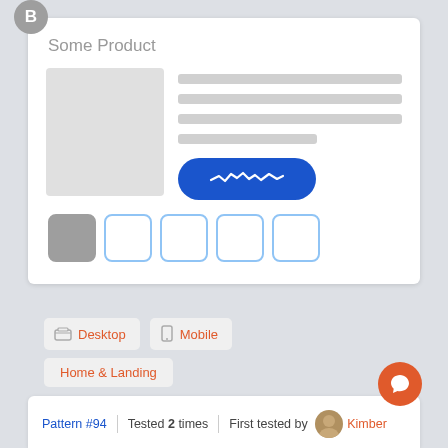[Figure (screenshot): UI wireframe card labeled B showing a product listing with image placeholder, text lines, blue add-to-cart button, and thumbnail selectors]
Some Product
Desktop | Mobile | Home & Landing
Pattern #94 | Tested 2 times | First tested by Kimber